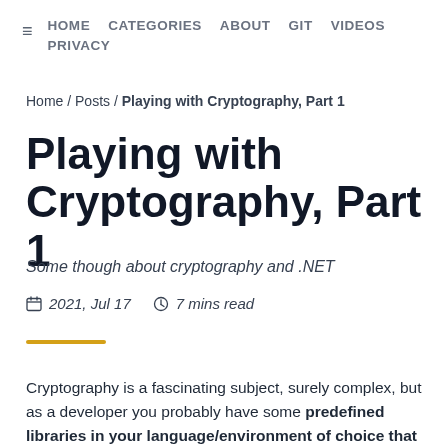HOME  CATEGORIES  ABOUT  GIT  VIDEOS  PRIVACY
Home / Posts / Playing with Cryptography, Part 1
Playing with Cryptography, Part 1
Some though about cryptography and .NET
2021, Jul 17   7 mins read
Cryptography is a fascinating subject, surely complex, but as a developer you probably have some predefined libraries in your language/environment of choice that